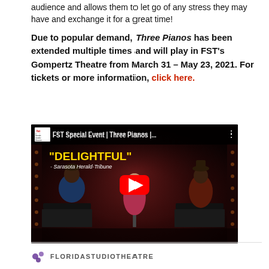audience and allows them to let go of any stress they may have and exchange it for a great time!
Due to popular demand, Three Pianos has been extended multiple times and will play in FST’s Gompertz Theatre from March 31 – May 23, 2021. For tickets or more information, click here.
[Figure (screenshot): YouTube video thumbnail for FST Special Event | Three Pianos | ... showing three performers on a dark stage. Yellow text overlay reads "DELIGHTFUL" with attribution to Sarasota Herald-Tribune. Red YouTube play button in center.]
FLORIDASTUDIOTHEATRE